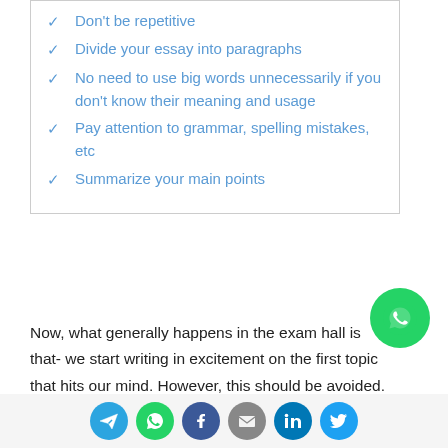Don't be repetitive
Divide your essay into paragraphs
No need to use big words unnecessarily if you don't know their meaning and usage
Pay attention to grammar, spelling mistakes, etc
Summarize your main points
Now, what generally happens in the exam hall is that- we start writing in excitement on the first topic that hits our mind. However, this should be avoided. Generally, our
[Figure (logo): WhatsApp floating button icon]
[Figure (infographic): Social sharing bar with Telegram, WhatsApp, Facebook, Email, LinkedIn, Twitter icons]